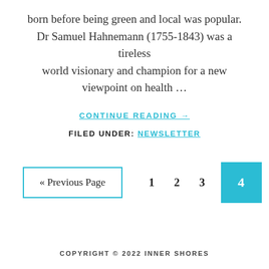born before being green and local was popular. Dr Samuel Hahnemann (1755-1843) was a tireless world visionary and champion for a new viewpoint on health …
CONTINUE READING →
FILED UNDER: NEWSLETTER
« Previous Page   1   2   3   4
COPYRIGHT © 2022 INNER SHORES